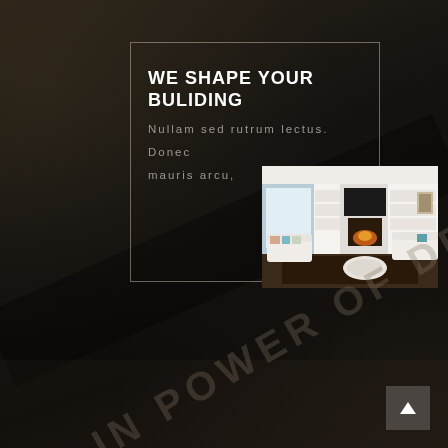WE SHAPE YOUR BULIDING
Nullam sed rutrum lectus. Donec mauris arcu,
[Figure (photo): Interior living room photo showing white sofas, fireplace, built-in white shelving, TV, and dark area rug]
LIVE IN POWER OF DESIGN